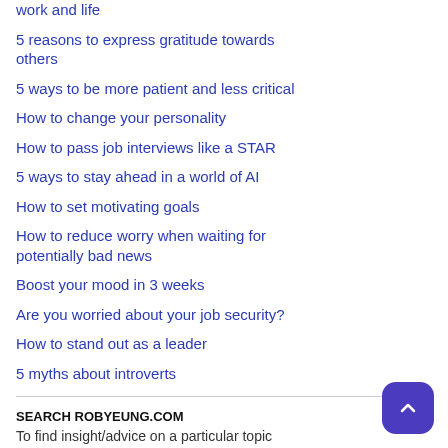work and life
5 reasons to express gratitude towards others
5 ways to be more patient and less critical
How to change your personality
How to pass job interviews like a STAR
5 ways to stay ahead in a world of AI
How to set motivating goals
How to reduce worry when waiting for potentially bad news
Boost your mood in 3 weeks
Are you worried about your job security?
How to stand out as a leader
5 myths about introverts
SEARCH ROBYEUNG.COM
To find insight/advice on a particular topic